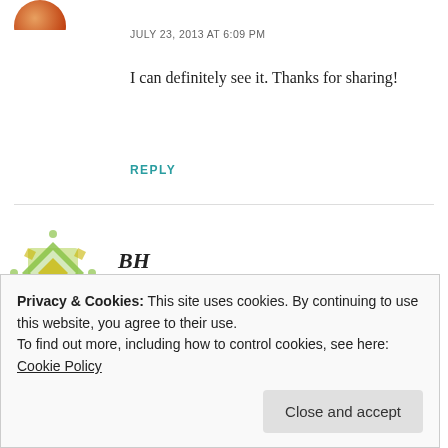JULY 23, 2013 AT 6:09 PM
I can definitely see it. Thanks for sharing!
REPLY
[Figure (illustration): BH avatar — decorative diamond/checker pattern icon in green and gold]
BH
JULY 23, 2013 AT 6:02 PM
Gladiator film score and it definitely
Privacy & Cookies: This site uses cookies. By continuing to use this website, you agree to their use.
To find out more, including how to control cookies, see here:
Cookie Policy
Close and accept